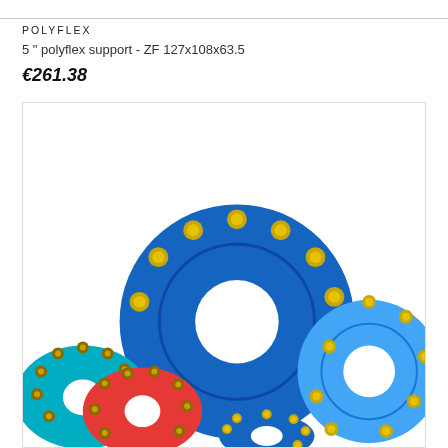POLYFLEX
5 " polyflex support - ZF 127x108x63.5
€261.38
[Figure (photo): Photo of multiple blue, red and teal polyflex pipe support flanges/rings with gold/yellow bolts and nuts arranged in a group, showing various sizes stacked together on a white background.]